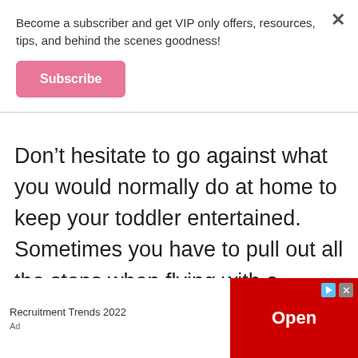Become a subscriber and get VIP only offers, resources, tips, and behind the scenes goodness!
Subscribe
Don't hesitate to go against what you would normally do at home to keep your toddler entertained. Sometimes you have to pull out all the stops when flying with a wiggly lap toddler. Load up your tablet with movies, shows and apps that you think will hold your toddler's attention while on the flight. Make
Recruitment Trends 2022
Open
Ad